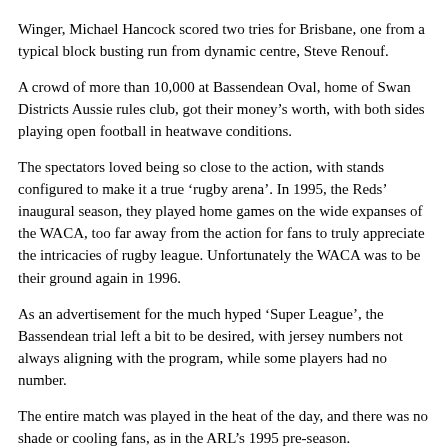Shane Webcke.
Winger, Michael Hancock scored two tries for Brisbane, one from a typical block busting run from dynamic centre, Steve Renouf.
A crowd of more than 10,000 at Bassendean Oval, home of Swan Districts Aussie rules club, got their money's worth, with both sides playing open football in heatwave conditions.
The spectators loved being so close to the action, with stands configured to make it a true ‘rugby arena’. In 1995, the Reds’ inaugural season, they played home games on the wide expanses of the WACA, too far away from the action for fans to truly appreciate the intricacies of rugby league. Unfortunately the WACA was to be their ground again in 1996.
As an advertisement for the much hyped ‘Super League’, the Bassendean trial left a bit to be desired, with jersey numbers not always aligning with the program, while some players had no number.
The entire match was played in the heat of the day, and there was no shade or cooling fans, as in the ARL’s 1995 pre-season.